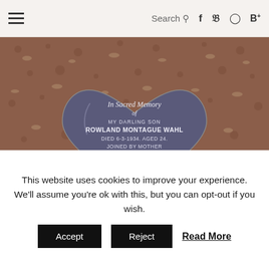Navigation bar with hamburger menu, Search, and social icons (f, t, Instagram, B+)
[Figure (photo): Heart-shaped blue/grey granite gravestone reading: 'In Sacred Memory of MY DARLING SON ROWLAND MONTAGUE WAHL DIED 6-3-1934. AGED 24. JOINED BY MOTHER ELIZABETH CATHERINE DIED 13-9-1961. AGED 82. PEACE, PERFECT PEACE.' Set against reddish-brown gravel/leaf background.]
This gravestone makes me sad
This website uses cookies to improve your experience. We'll assume you're ok with this, but you can opt-out if you wish.
Accept  Reject  Read More